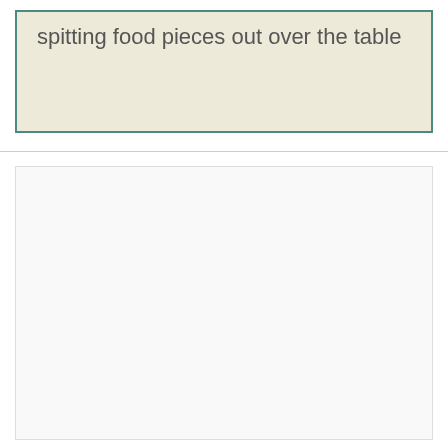spitting food pieces out over the table
[Figure (other): Empty light gray bordered box, appears to be a placeholder image area]